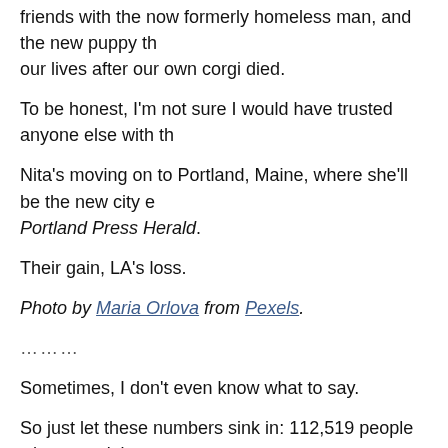friends with the now formerly homeless man, and the new puppy that entered our lives after our own corgi died.
To be honest, I'm not sure I would have trusted anyone else with th…
Nita's moving on to Portland, Maine, where she'll be the new city e… Portland Press Herald.
Their gain, LA's loss.
Photo by Maria Orlova from Pexels.
………
Sometimes, I don't even know what to say.
So just let these numbers sink in: 112,519 people who weren't in ca… pedestrians and people on bicycles — have been killed by drivers s…
And nearly 2 million — yes, million — American traffic deaths since… make it equivalent to the 5th largest city in the US.
““